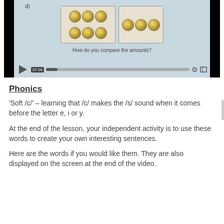[Figure (screenshot): A video player screenshot showing a math lesson about comparing coin amounts. The video frame shows two boxes with coins, and a question 'How do you compare the amounts?' with a timestamp 27:16 visible. Video controls show a play button, progress bar, settings gear icon, and fullscreen button.]
Phonics
'Soft /c/' – learning that /c/ makes the /s/ sound when it comes before the letter e, i or y.
At the end of the lesson, your independent activity is to use these words to create your own interesting sentences.
Here are the words if you would like them. They are also displayed on the screen at the end of the video.